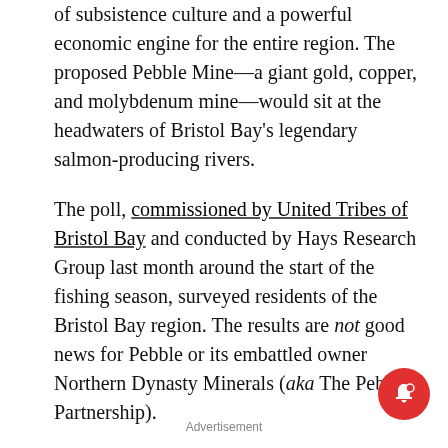of subsistence culture and a powerful economic engine for the entire region. The proposed Pebble Mine—a giant gold, copper, and molybdenum mine—would sit at the headwaters of Bristol Bay's legendary salmon-producing rivers.
The poll, commissioned by United Tribes of Bristol Bay and conducted by Hays Research Group last month around the start of the fishing season, surveyed residents of the Bristol Bay region. The results are not good news for Pebble or its embattled owner Northern Dynasty Minerals (aka The Pebble Partnership).
Advertisement